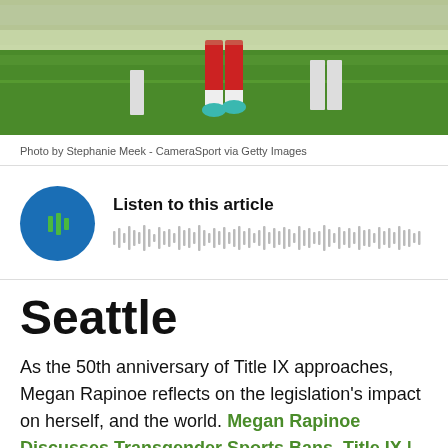[Figure (photo): Soccer players on a green grass field, with one player in a red uniform visible from the waist down, wearing teal/blue cleats]
Photo by Stephanie Meek - CameraSport via Getty Images
[Figure (other): Audio player widget with circular blue play button and waveform visualization, with text 'Listen to this article']
Seattle
As the 50th anniversary of Title IX approaches, Megan Rapinoe reflects on the legislation's impact on herself, and the world. Megan Rapinoe Discusses Transgender Sports Bans, Title IX | Time